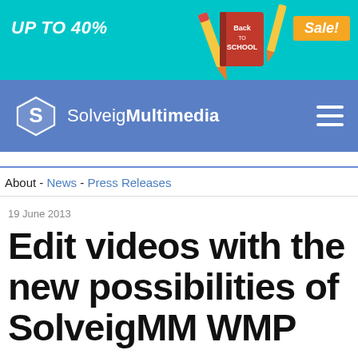[Figure (illustration): Back to School sale banner advertisement with teal background, pencils and books illustration, text 'UP TO 40%' on left and 'Sale!' badge on right]
SolveigMultimedia
About - News - Press Releases
19 June 2013
Edit videos with the new possibilities of SolveigMM WMP